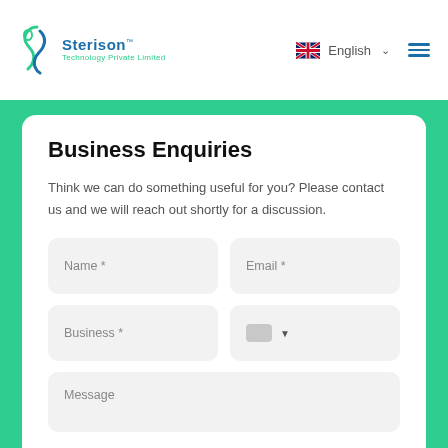Sterison Technology Private Limited — English
Business Enquiries
Think we can do something useful for you? Please contact us and we will reach out shortly for a discussion.
Name * [input field]
Email * [input field]
Business * [input field]
[dropdown selector]
Message [textarea]